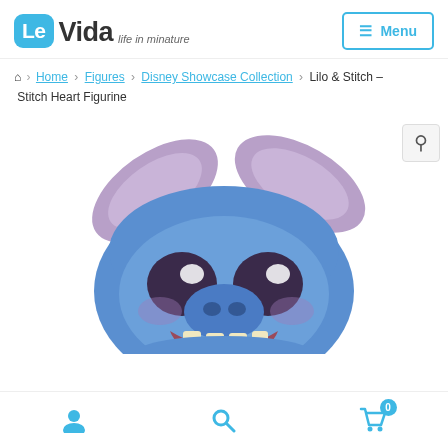Le Vida – life in minature | Menu
Home > Figures > Disney Showcase Collection > Lilo & Stitch – Stitch Heart Figurine
[Figure (photo): Close-up photo of a Stitch figurine from Lilo & Stitch Disney Showcase Collection, showing Stitch's face with large ears, big eyes, and open mouth with teeth, blue and purple coloring.]
User icon | Search icon | Cart (0)